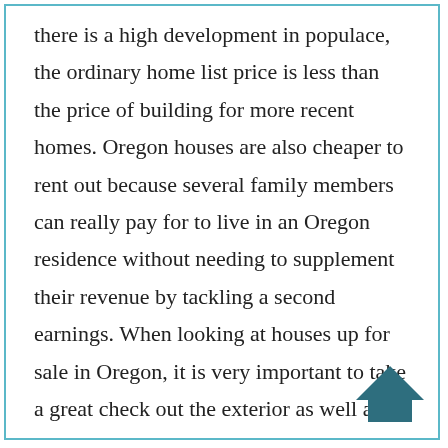there is a high development in populace, the ordinary home list price is less than the price of building for more recent homes. Oregon houses are also cheaper to rent out because several family members can really pay for to live in an Oregon residence without needing to supplement their revenue by tackling a second earnings. When looking at houses up for sale in Oregon, it is very important to take a great check out the exterior as well as lawn of the home. If there is a home you like in Oregon yet it does not look the way you envisioned it, you must have the ability to either alter the strategies or find a residence inspection service to aid make the adjustments to make it the means you want it. A good realtor will know with the location and must be able to take a look at
[Figure (logo): A dark teal/navy house icon with a triangular roof shape pointing upward, bottom-right corner of the page.]